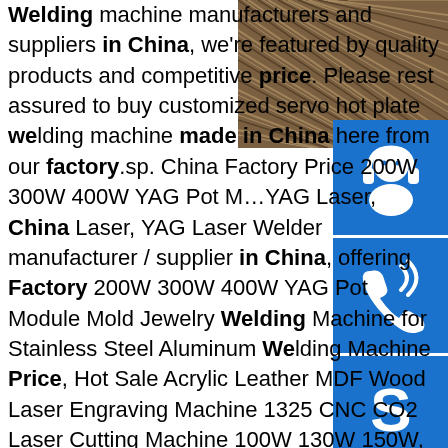[Figure (photo): Photo of steel channel/angle bars stacked together, top-right corner of page]
[Figure (illustration): Blue square icon with white headphone/support agent silhouette]
[Figure (illustration): Blue square icon with white telephone/call symbol]
[Figure (illustration): Blue square icon with white Skype logo]
Welding machine manufacturers and suppliers in China, we're featured by quality products and competitive price. Please rest assured to buy customized servo hot plate welding machine made in China here from our factory.sp. China Factory Price 200W 300W 400W YAG Pot M…YAG Laser, China Laser, YAG Laser Welder manufacturer / supplier in China, offering Factory 200W 300W 400W YAG Pot Module Mold Jewelry Welding Machine for Stainless Steel Aluminum Welding Machine Price, Hot Sale Acrylic Leather MDF Wood Laser Engraving Machine 1325 CNC CO2 Laser Cutting Machine 100W 130W 150W, 1325 CO2 Laser 150W MDF Laser Cutting Machine ...sp.info China HDPE Geomembrane manufacturer ... - Made-in …150g 200g 300g 400g 500g 800g 1000g Reinforced PP/Pet Polyester Woven/Nonwoven Geotextile Price for Road Construction